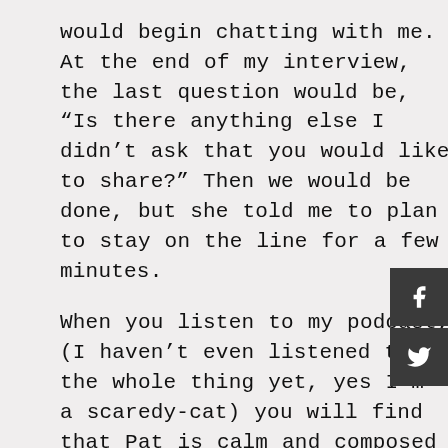would begin chatting with me. At the end of my interview, the last question would be, “Is there anything else I didn’t ask that you would like to share?” Then we would be done, but she told me to plan to stay on the line for a few minutes.

When you listen to my podcast, (I haven’t even listened to the whole thing yet, yes I’m a scaredy-cat) you will find that Pat is calm and composed and I am eager and babbles. She